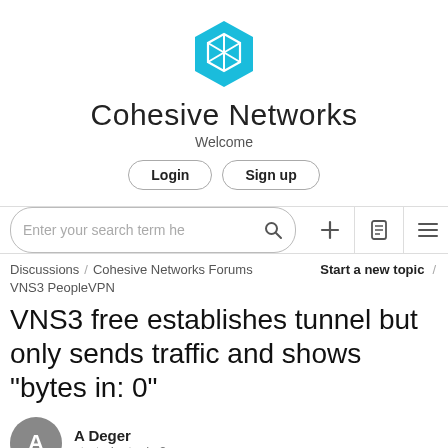[Figure (logo): Cohesive Networks hexagon logo in cyan/teal color with a box/cube icon inside]
Cohesive Networks
Welcome
Login   Sign up
[Figure (screenshot): Search bar with placeholder 'Enter your search term he' and toolbar icons: plus, document, hamburger menu]
Discussions / Cohesive Networks Forums / VNS3 PeopleVPN  Start a new topic
VNS3 free establishes tunnel but only sends traffic and shows "bytes in: 0"
A Deger
started a topic 2 years ago
I'm trying to create a working tunnel to a (large) customers infrastructure (I believe they're using Cisco ASA).  They have